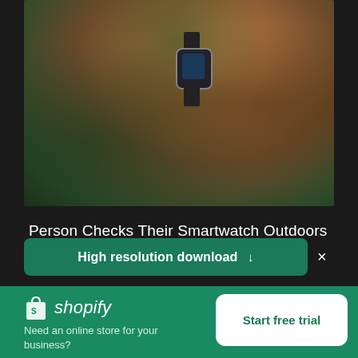[Figure (photo): A person's arm raised showing a smartwatch on their wrist, with blurred green foliage and brown hair in the background. Outdoor setting.]
Person Checks Their Smartwatch Outdoors
High resolution download ↓
[Figure (logo): Shopify logo with shopping bag icon and italic 'shopify' text in white]
Need an online store for your business?
Start free trial